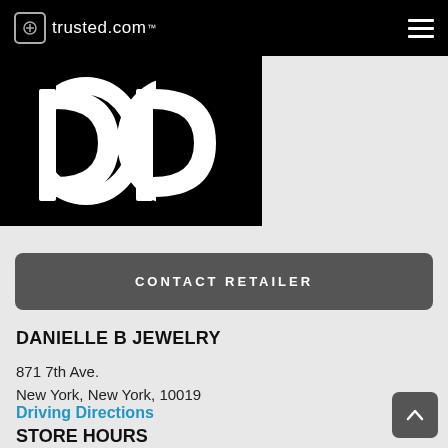trusted.com
[Figure (logo): Danielle B Jewelry logo — white 'db' lettering on black background]
CONTACT RETAILER
DANIELLE B JEWELRY
871 7th Ave.
New York, New York, 10019
Driving Directions
STORE HOURS